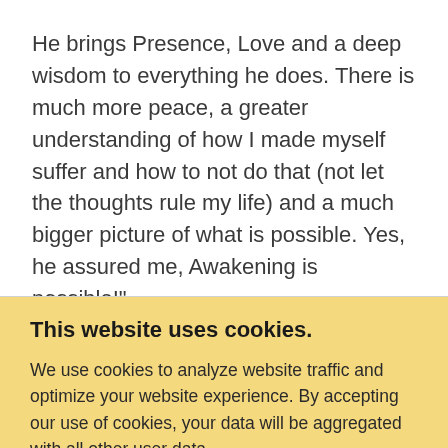He brings Presence, Love and a deep wisdom to everything he does. There is much more peace, a greater understanding of how I made myself suffer and how to not do that (not let the thoughts rule my life) and a much bigger picture of what is possible. Yes, he assured me, Awakening is possible!"
This website uses cookies.
We use cookies to analyze website traffic and optimize your website experience. By accepting our use of cookies, your data will be aggregated with all other user data.